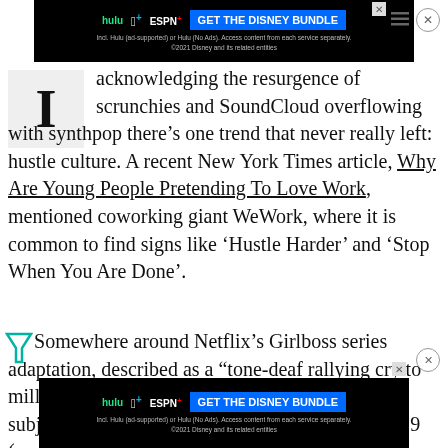[Figure (other): Disney Bundle advertisement banner at the top: hulu, Disney+, ESPN+ logos with 'GET THE DISNEY BUNDLE' button on dark background]
acknowledging the resurgence of scrunchies and SoundCloud overflowing with synthpop there’s one trend that never really left: hustle culture. A recent New York Times article, Why Are Young People Pretending To Love Work, mentioned coworking giant WeWork, where it is common to find signs like ‘Hustle Harder’ and ‘Stop When You Are Done’.
Somewhere around Netflix’s Girlboss series adaptation, described as a “tone-deaf rallying cry to mille… ame a subject… minant ideology in 2019 (people who worship Elon Musk
[Figure (other): Disney Bundle advertisement banner at the bottom overlapping text: hulu, Disney+, ESPN+ logos with 'GET THE DISNEY BUNDLE' button on dark background]